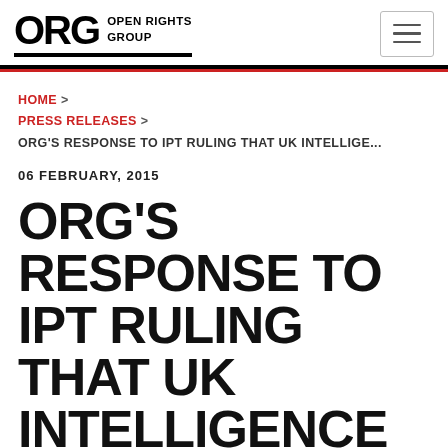ORG OPEN RIGHTS GROUP
HOME > PRESS RELEASES > ORG'S RESPONSE TO IPT RULING THAT UK INTELLIGE...
06 FEBRUARY, 2015
ORG'S RESPONSE TO IPT RULING THAT UK INTELLIGENCE SHARING WAS UNLAWFUL